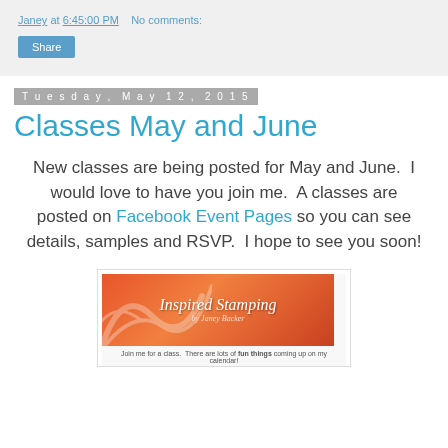Janey at 6:45:00 PM   No comments:
Share
Tuesday, May 12, 2015
Classes May and June
New classes are being posted for May and June.  I would love to have you join me.  A classes are posted on Facebook Event Pages so you can see details, samples and RSVP.  I hope to see you soon!
[Figure (illustration): Inspired Stamping by Janey Backer banner image with orange-red gradient background and swirl decorations, with caption text below reading 'Join me for a class. There are lots of fun things coming up on my calendar!']